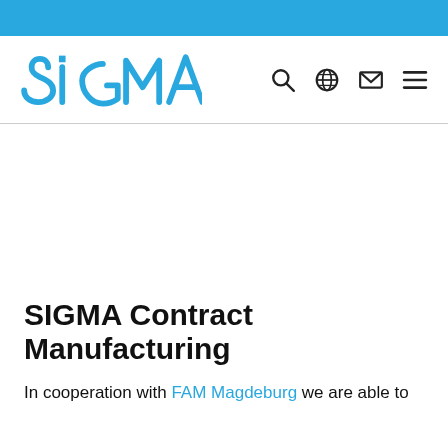[Figure (logo): SIGMA company logo in blue with a small square dot above the letter i]
SIGMA Contract Manufacturing
In cooperation with FAM Magdeburg we are able to